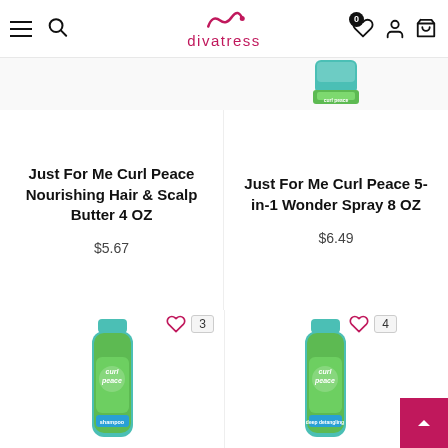divatress
[Figure (screenshot): Partial product image top-right: Just For Me Curl Peace product jar (teal/green)]
Just For Me Curl Peace Nourishing Hair & Scalp Butter 4 OZ
$5.67
Just For Me Curl Peace 5-in-1 Wonder Spray 8 OZ
$6.49
[Figure (photo): Just For Me Curl Peace shampoo bottle (teal/green, item 3) with heart wishlist icon showing count 3]
[Figure (photo): Just For Me Curl Peace shampoo bottle (teal/green, item 4) with heart wishlist icon showing count 4]